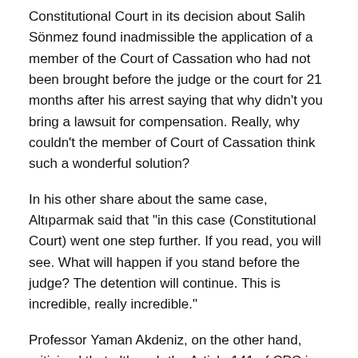Constitutional Court in its decision about Salih Sönmez found inadmissible the application of a member of the Court of Cassation who had not been brought before the judge or the court for 21 months after his arrest saying that why didn't you bring a lawsuit for compensation. Really, why couldn't the member of Court of Cassation think such a wonderful solution?
In his other share about the same case, Altıparmak said that "in this case (Constitutional Court) went one step further. If you read, you will see. What will happen if you stand before the judge? The detention will continue. This is incredible, really incredible."
Professor Yaman Akdeniz, on the other hand, criticized that although the Article 141 of CPC is not an effective domestic remedy, both the Constitutional Court and ECHR accept it as a solution to the violations of rights related to arrest saying that on his social media account: